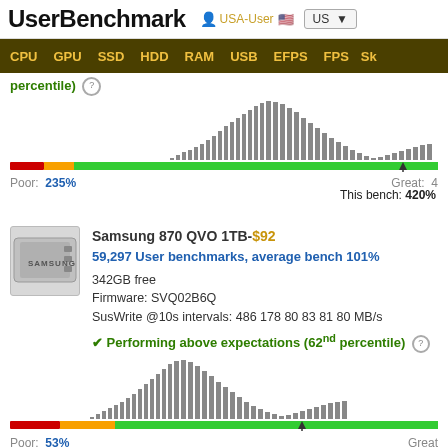UserBenchmark  USA-User  US
CPU  GPU  SSD  HDD  RAM  USB  EFPS  FPS  Sk
percentile)
[Figure (histogram): Histogram distribution of benchmark scores with color gradient progress bar. Poor: 235%, Great: 4xx, This bench: 420%]
Poor: 235%
Great: 4
This bench: 420%
[Figure (illustration): Samsung SSD drive image]
Samsung 870 QVO 1TB-$92
59,297 User benchmarks, average bench 101%
342GB free
Firmware: SVQ02B6Q
SusWrite @10s intervals: 486 178 80 83 81 80 MB/s
✔ Performing above expectations (62nd percentile)
[Figure (histogram): Histogram distribution of benchmark scores. Poor: 53%, Great (partial), This bench: 111%]
Poor: 53%
Great
This bench: 111%